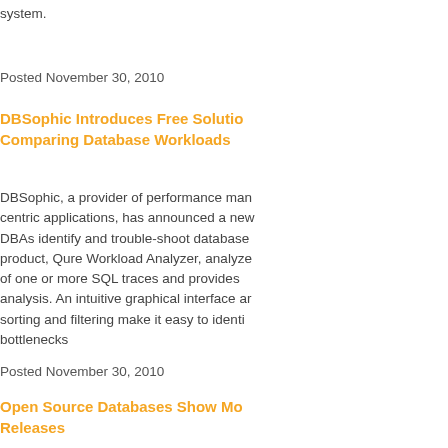system.
Posted November 30, 2010
DBSophic Introduces Free Solution for Comparing Database Workloads
DBSophic, a provider of performance management software for data-centric applications, has announced a new free tool to help DBAs identify and trouble-shoot database workloads. The product, Qure Workload Analyzer, analyzes the content of one or more SQL traces and provides workload analysis. An intuitive graphical interface and powerful sorting and filtering make it easy to identify database bottlenecks
Posted November 30, 2010
Open Source Databases Show More Major Releases